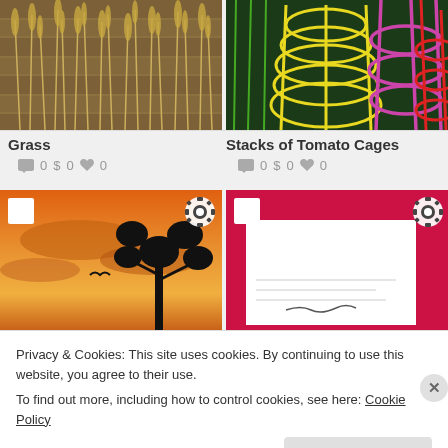[Figure (photo): Photo of dry grass/wheat stalks against wooden background]
[Figure (photo): Photo of colorful stacked tomato cages in yellow, pink, green, red]
Grass
0  $ 0  0
Stacks of Tomato Cages
0  $ 0  0
[Figure (photo): Sunset photo with tree silhouette]
[Figure (photo): Red frame with white paper/card inside]
Privacy & Cookies: This site uses cookies. By continuing to use this website, you agree to their use.
To find out more, including how to control cookies, see here: Cookie Policy
Close and accept